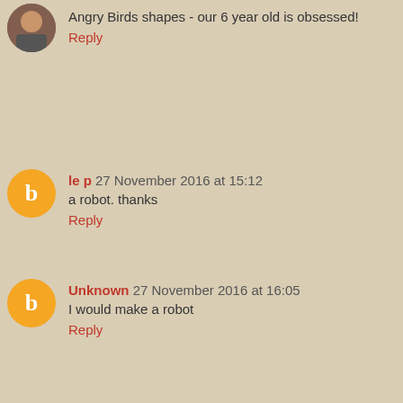Angry Birds shapes - our 6 year old is obsessed!
Reply
le p 27 November 2016 at 15:12
a robot. thanks
Reply
Unknown 27 November 2016 at 16:05
I would make a robot
Reply
Karla S 27 November 2016 at 18:33
I will make a bunny!
Reply